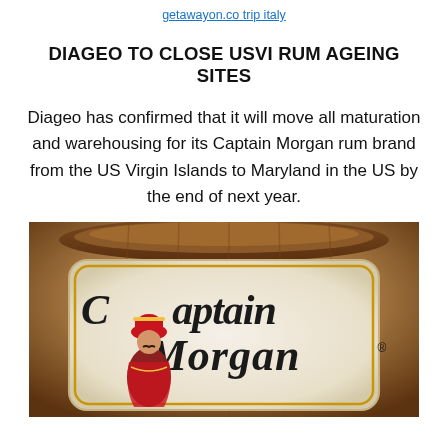getawayon.co trip italy
DIAGEO TO CLOSE USVI RUM AGEING SITES
Diageo has confirmed that it will move all maturation and warehousing for its Captain Morgan rum brand from the US Virgin Islands to Maryland in the US by the end of next year.
[Figure (photo): Close-up photo of a Captain Morgan rum bottle label showing the Captain Morgan logo with the pirate character and barrel top visible]